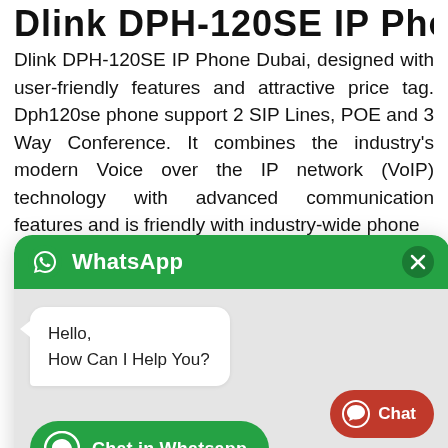Dlink DPH-120SE IP Phone
Dlink DPH-120SE IP Phone Dubai, designed with user-friendly features and attractive price tag. Dph120se phone support 2 SIP Lines, POE and 3 Way Conference. It combines the industry’s modern Voice over the IP network (VoIP) technology with advanced communication features and is friendly with industry-wide phone
[Figure (screenshot): WhatsApp chat widget overlay with green header showing WhatsApp logo and title, a chat bubble saying 'Hello, How Can I Help You?', a 'Chat in Whatsapp' button, and a red 'Chat' FAB button in the bottom right corner.]